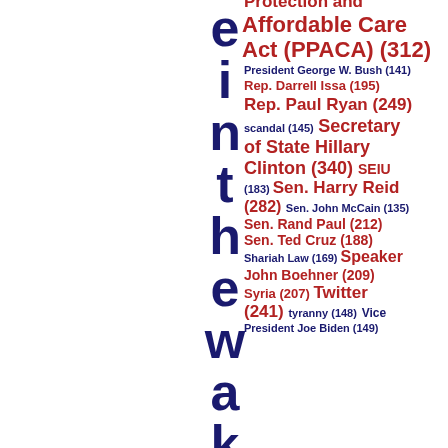[Figure (infographic): Tag cloud / word cloud showing political topics and entities with frequency counts. Vertical large letters on left side spelling out part of a word. Topics include: Protection and Affordable Care Act (PPACA) (312), President George W. Bush (141), Rep. Darrell Issa (195), Rep. Paul Ryan (249), scandal (145), Secretary of State Hillary Clinton (340), SEIU (183), Sen. Harry Reid (282), Sen. John McCain (135), Sen. Rand Paul (212), Sen. Ted Cruz (188), Shariah Law (169), Speaker John Boehner (209), Syria (207), Twitter (241), tyranny (148), Vice President Joe Biden (149)]